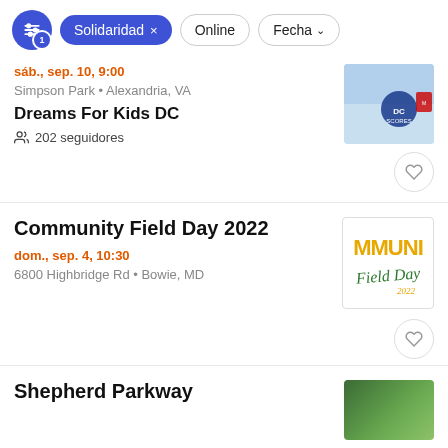Solidaridad × | Online | Fecha ∨
sáb., sep. 10, 9:00
Simpson Park • Alexandria, VA
Dreams For Kids DC
202 seguidores
Community Field Day 2022
dom., sep. 4, 10:30
6800 Highbridge Rd • Bowie, MD
Shepherd Parkway